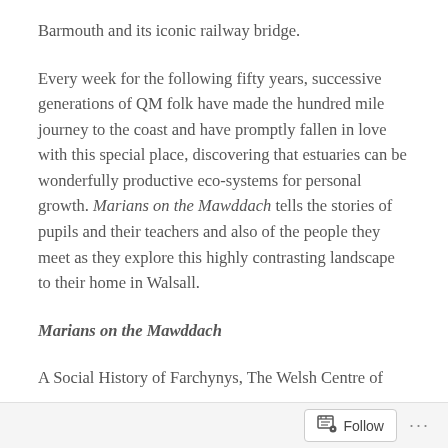Barmouth and its iconic railway bridge.
Every week for the following fifty years, successive generations of QM folk have made the hundred mile journey to the coast and have promptly fallen in love with this special place, discovering that estuaries can be wonderfully productive eco-systems for personal growth. Marians on the Mawddach tells the stories of pupils and their teachers and also of the people they meet as they explore this highly contrasting landscape to their home in Walsall.
Marians on the Mawddach
A Social History of Farchynys, The Welsh Centre of
Follow ...